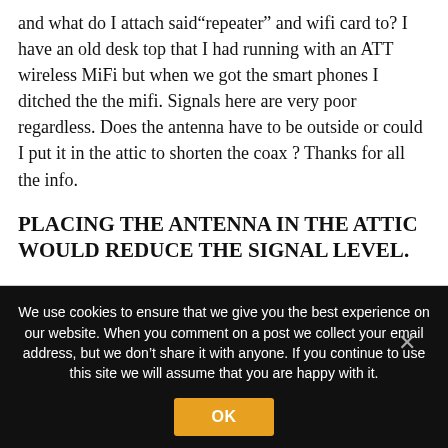and what do I attach said“repeater” and wifi card to? I have an old desk top that I had running with an ATT wireless MiFi but when we got the smart phones I ditched the the mifi. Signals here are very poor regardless. Does the antenna have to be outside or could I put it in the attic to shorten the coax ? Thanks for all the info.
PLACING THE ANTENNA IN THE ATTIC WOULD REDUCE THE SIGNAL LEVEL.
REPLY
We use cookies to ensure that we give you the best experience on our website. When you comment on a post we collect your email address, but we don’t share it with anyone. If you continue to use this site we will assume that you are happy with it.
OK